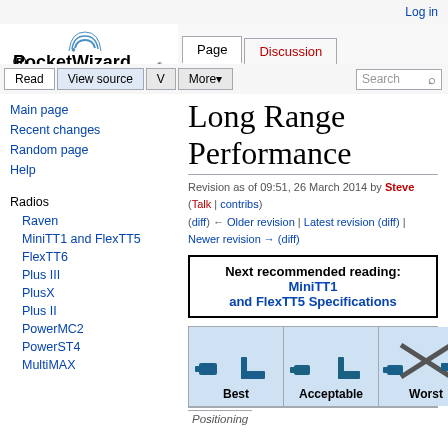Log in
[Figure (logo): PocketWizard logo with 'MAKE IT POSSIBLE' tagline]
Long Range Performance
Revision as of 09:51, 26 March 2014 by Steve (Talk | contribs)
(diff) ← Older revision | Latest revision (diff) | Newer revision → (diff)
Next recommended reading: MiniTT1 and FlexTT5 Specifications
[Figure (illustration): Three positioning diagrams showing Best, Acceptable, and Worst radio positioning configurations]
Positioning
Main page
Recent changes
Random page
Help
Radios
Raven
MiniTT1 and FlexTT5
FlexTT6
Plus III
PlusX
Plus II
PowerMC2
PowerST4
MultiMAX